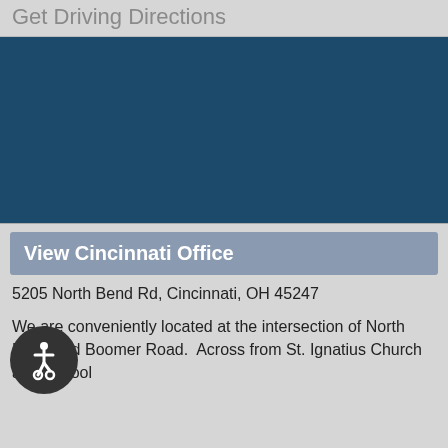Get Driving Directions
[Figure (map): Dark blue map area placeholder for an embedded map]
View Cincinnati Office
5205 North Bend Rd, Cincinnati, OH 45247
We are conveniently located at the intersection of North Bend and Boomer Road.  Across from St. Ignatius Church and School